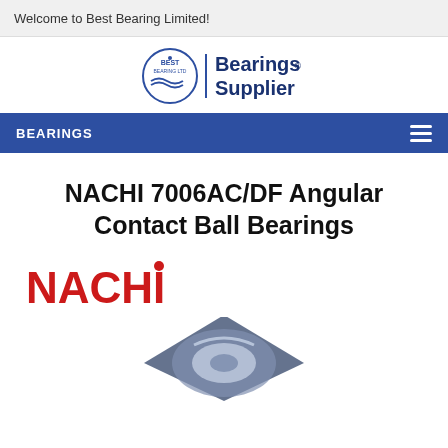Welcome to Best Bearing Limited!
[Figure (logo): Best Bearing Ltd logo with circular emblem and 'Bearings Supplier' text in dark blue]
BEARINGS
NACHI 7006AC/DF Angular Contact Ball Bearings
[Figure (logo): NACHI brand logo in red and dark text]
[Figure (photo): Angular contact ball bearing product image, partially visible at bottom of page]